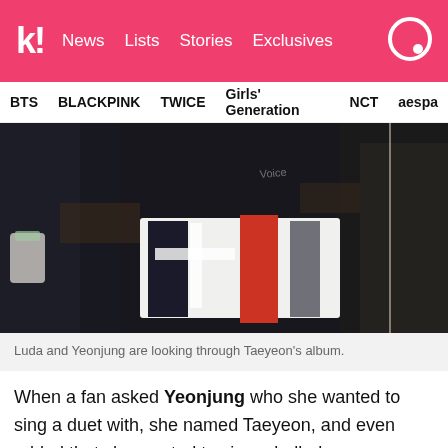k! News  Lists  Stories  Exclusives
BTS  BLACKPINK  TWICE  Girls' Generation  NCT  aespa
[Figure (photo): Close-up photo of two people looking through what appears to be Taeyeon's music album. A white album with red and black design is visible in the foreground.]
Luda and Yeonjung are looking through Taeyeon's album.
When a fan asked Yeonjung who she wanted to sing a duet with, she named Taeyeon, and even added that she wanted to sing a ballad.